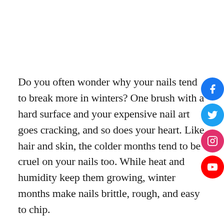Do you often wonder why your nails tend to break more in winters? One brush with a hard surface and your expensive nail art goes cracking, and so does your heart. Like hair and skin, the colder months tend to be cruel on your nails too. While heat and humidity keep them growing, winter months make nails brittle, rough, and easy to chip.
With a few protective measures, you can